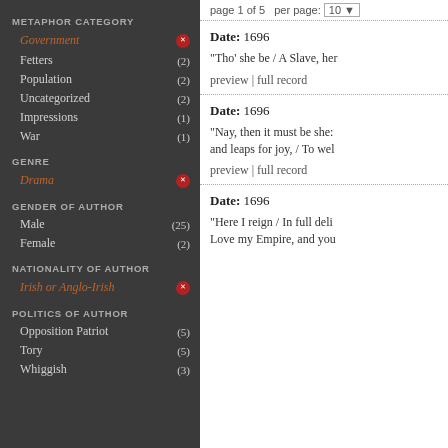METAPHOR CATEGORY
Government ×
Fetters (2)
Population (2)
Uncategorized (2)
Impressions (1)
War (1)
GENRE
Drama ×
GENDER OF AUTHOR
Male (25)
Female (2)
NATIONALITY OF AUTHOR
Irish or Anglo-Irish ×
POLITICS OF AUTHOR
Opposition Patriot (5)
Tory (5)
Whiggish (3)
page 1 of 5   per page: 10
Date: 1696
"Tho' she be / A Slave, her…
preview | full record
Date: 1696
"Nay, then it must be she: and leaps for joy, / To wel…
preview | full record
Date: 1696
"Here I reign / In full deli… Love my Empire, and you…
preview | full record